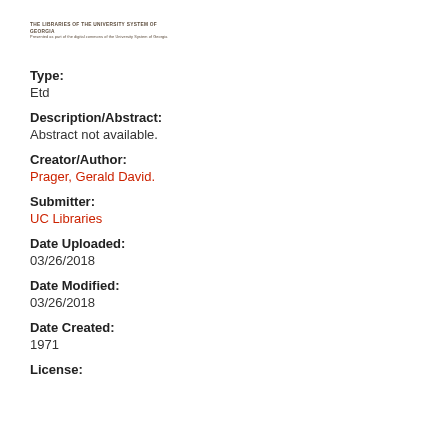[Figure (logo): University or library logo with small text header]
Type:
Etd
Description/Abstract:
Abstract not available.
Creator/Author:
Prager, Gerald David.
Submitter:
UC Libraries
Date Uploaded:
03/26/2018
Date Modified:
03/26/2018
Date Created:
1971
License: